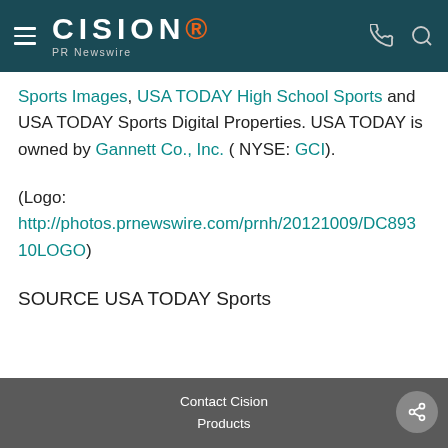CISION PR Newswire
Sports Images, USA TODAY High School Sports and USA TODAY Sports Digital Properties. USA TODAY is owned by Gannett Co., Inc. ( NYSE: GCI).
(Logo: http://photos.prnewswire.com/prnh/20121009/DC89310LOGO)
SOURCE USA TODAY Sports
Contact Cision
Products